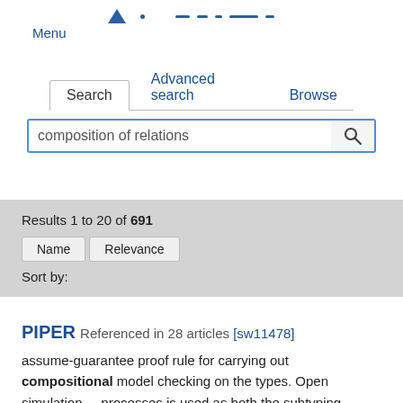Menu
Search | Advanced search | Browse
composition of relations [search input]
Results 1 to 20 of 691
Sort by: Name | Relevance
PIPER Referenced in 28 articles [sw11478] assume-guarantee proof rule for carrying out compositional model checking on the types. Open simulation ... processes is used as both the subtyping relation ... type system and the abstraction relation for